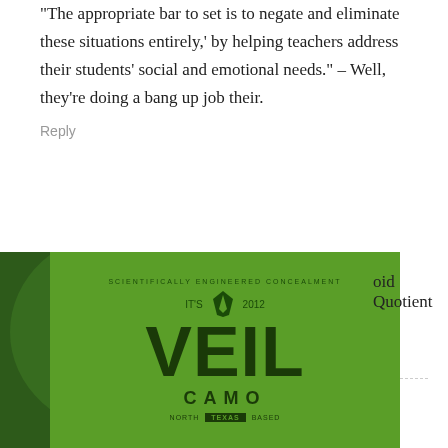eliminate these situations entirely,' by helping teachers address their students' social and emotional needs." – Well, they're doing a bang up job their.
Reply
Nanashi
February 23, 2018 At 03:13
Wasn't the shooter's AR a 5.7 gimmick rifle and thus the wounds were completely non-typical of an AR's ?
Reply
[Figure (photo): Advertisement showing a person in camouflage gear in a forest on the left, and a green background with VEIL CAMO logo on the right. Partial text 'oid Quotient' visible on far right.]